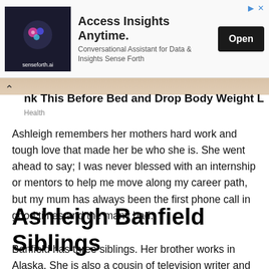[Figure (other): Advertisement banner for senseforth.ai with logo, title 'Access Insights Anytime.', subtitle 'Conversational Assistant for Data & Insights Sense Forth', and an 'Open' button]
Drink This Before Bed and Drop Body Weight Like Crazy
Health
Ashleigh remembers her mothers hard work and tough love that made her be who she is. She went ahead to say; I was never blessed with an internship or mentors to help me move along my career path, but my mum has always been the first phone call in good times and the many bad.
Ashleigh Banfield Siblings
Banfield has three siblings. Her brother works in Alaska. She is also a cousin of television writer and director